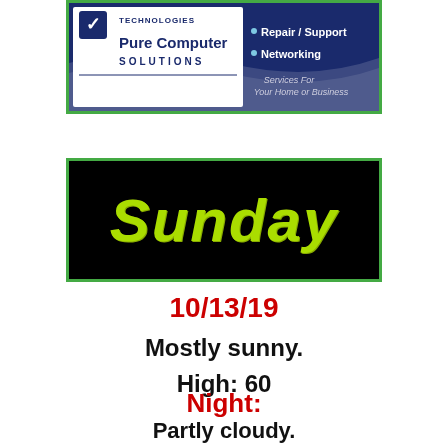[Figure (logo): Pure Computer Solutions advertisement banner with dark blue/navy background, company logo text reading 'TECHNOLOGIES Pure Computer SOLUTIONS' and bullet points: Repair / Support, Networking, Services For Your Home or Business]
[Figure (other): Black banner with bright yellow-green stylized italic text reading 'Sunday', bordered with green outline]
10/13/19
Mostly sunny.
High: 60
Night:
Partly cloudy.